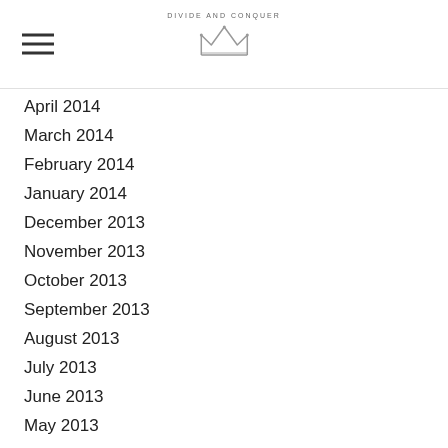DIVIDE AND CONQUER
April 2014
March 2014
February 2014
January 2014
December 2013
November 2013
October 2013
September 2013
August 2013
July 2013
June 2013
May 2013
April 2013
March 2013
February 2013
January 2013
December 2012
November 2012